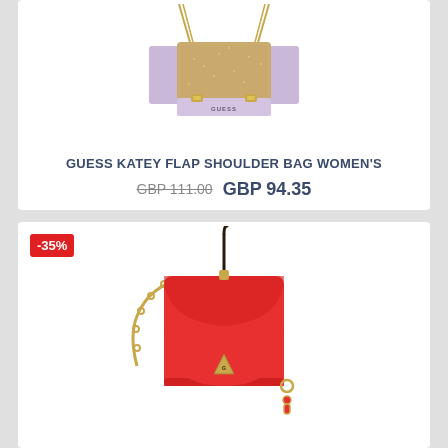[Figure (photo): GUESS Katey Flap Shoulder Bag in lavender/gold glitter, displayed with chain straps, top view]
GUESS KATEY FLAP SHOULDER BAG WOMEN'S
GBP 111.00  GBP 94.35
[Figure (photo): GUESS red shoulder bag with gold chain strap and triangle logo, with -35% discount badge]